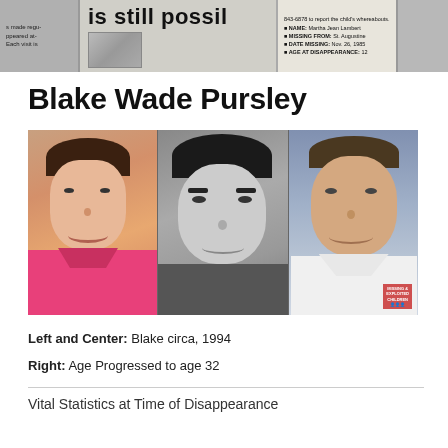[Figure (photo): Header banner showing newspaper clippings and missing child information with text 'is still possi' visible, plus a small missing child notice with name Martha Jean Lambert, missing from St. Augustine, date missing Nov. 26, 1985, age at disappearance 12]
Blake Wade Pursley
[Figure (photo): Three photos of Blake Wade Pursley: Left and Center show Blake circa 1994 (color school photo in pink shirt and black-and-white photo), Right shows an age-progressed photo to age 32 with NCMEC logo]
Left and Center: Blake circa, 1994
Right: Age Progressed to age 32
Vital Statistics at Time of Disappearance